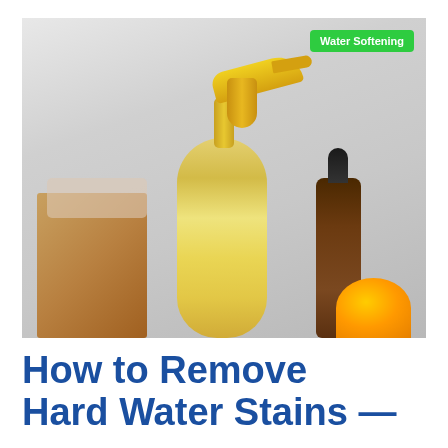[Figure (photo): A yellow spray bottle with a trigger sprayer in the center, surrounded by cleaning ingredients: a brown dropper bottle on the right, a halved orange/lemon on the far right, and a baking soda box on the left. A green badge in the top-right corner reads 'Water Softening'. White/grey background.]
How to Remove Hard Water Stains —